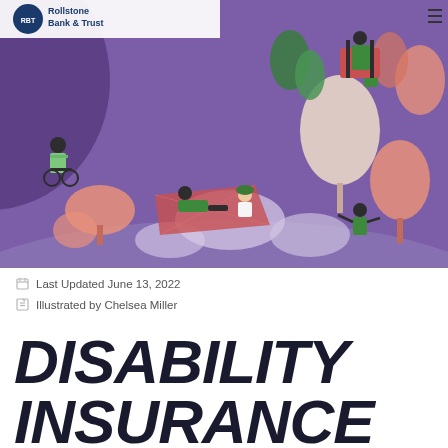[Figure (illustration): Colorful illustrated scene on purple background showing various people (including a person in a wheelchair, people relaxing on a picnic blanket, a person walking a dog, a person on rocks) surrounded by stylized trees in pink/salmon and white. Rollstone Bank & Trust logo in top left corner.]
Last Updated June 13, 2022
Illustrated by Chelsea Miller
DISABILITY INSURANCE